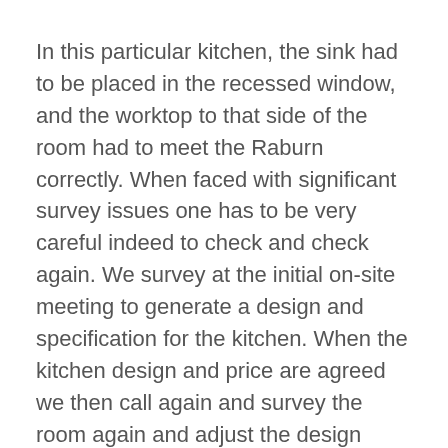In this particular kitchen, the sink had to be placed in the recessed window, and the worktop to that side of the room had to meet the Raburn correctly. When faced with significant survey issues one has to be very careful indeed to check and check again. We survey at the initial on-site meeting to generate a design and specification for the kitchen. When the kitchen design and price are agreed we then call again and survey the room again and adjust the design accordingly. as you will see from the drawing and specification links below you will note that we were able to model the exact outcome despite the difficulties of the shape of the room.
Neil Wilson carried out the kitchen installation. Though the kitchen fit itself only took a week or so, the room took a bit more time to sort out. The featured image to this page shows Neil's essential equipment a vacuum cleaner! Older properties certainly have their charm; behind the